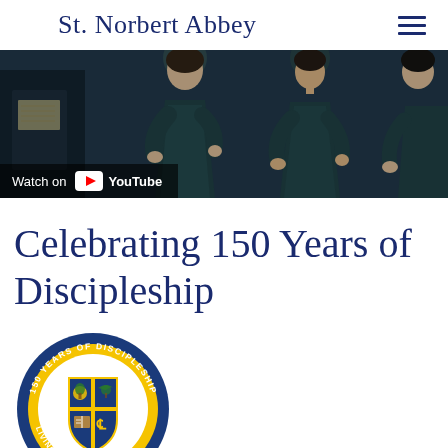St. Norbert Abbey
[Figure (photo): Video thumbnail showing women in dark formal dresses, with a 'Watch on YouTube' overlay badge at the bottom left.]
Celebrating 150 Years of Discipleship
[Figure (logo): Circular 150 Years of Discipleship anniversary seal/logo for St. Norbert Abbey, gold and blue colors, featuring a shield with four quadrants, text reading '150 YEARS OF DISCIPLESHIP' around the top and 'LIVING AS JESUS DID' around the bottom.]